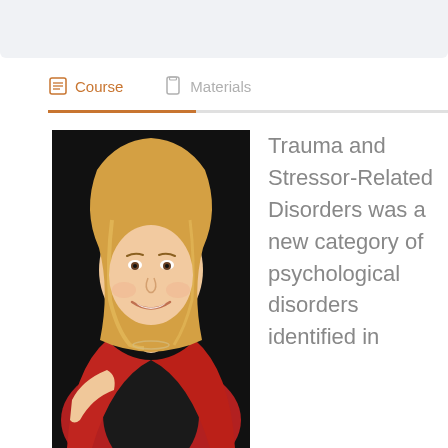Course   Materials
[Figure (photo): Professional headshot of a smiling blonde woman in a red blazer seated against a black background]
Trauma and Stressor-Related Disorders was a new category of psychological disorders identified in